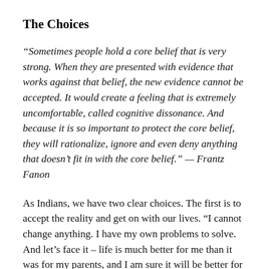The Choices
“Sometimes people hold a core belief that is very strong. When they are presented with evidence that works against that belief, the new evidence cannot be accepted. It would create a feeling that is extremely uncomfortable, called cognitive dissonance. And because it is so important to protect the core belief, they will rationalize, ignore and even deny anything that doesn’t fit in with the core belief.” — Frantz Fanon
As Indians, we have two clear choices. The first is to accept the reality and get on with our lives. “I cannot change anything. I have my own problems to solve. And let’s face it – life is much better for me than it was for my parents, and I am sure it will be better for my kids than it is for me.” Or give a strong counter punch: “There isn’t anything wrong with